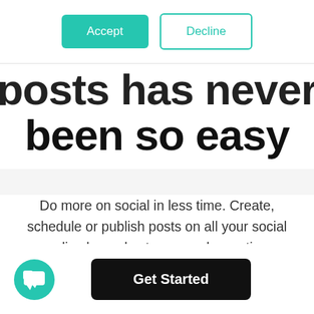[Figure (screenshot): Two buttons at top: 'Accept' (teal filled) and 'Decline' (teal outline)]
posts has never been so easy
Do more on social in less time. Create, schedule or publish posts on all your social media channels at once and save time. Manage your content and review posts in a simple calendar view. Content publication has never been this easy.
[Figure (illustration): Teal circular chat bubble icon in bottom left]
Get Started